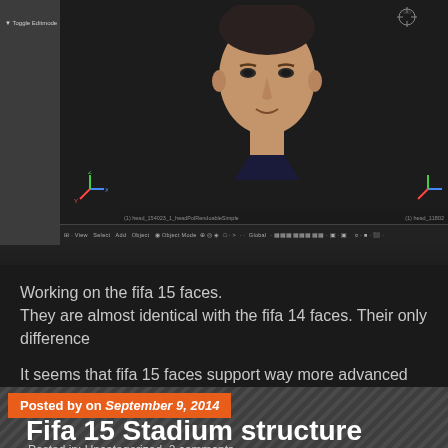[Figure (screenshot): Blender 3D software showing a 3D head/face model in Object Mode. The interface shows a sidebar panel on the left with 'Toggle Editmode' button, a main viewport with a human head model rendered against dark background, with coordinate axes indicators, a crosshair gizmo in top right, and a toolbar at the bottom showing 'Object Mode' and other controls. Status bar shows '(1) head_154023_1_headPolRendoableSimple' on the left and '(1) head_11802' on the right.]
Working on the fifa 15 faces.
They are almost identical with the fifa 14 faces. Their only difference
It seems that fifa 15 faces support way more advanced and analytic
Greg
Posted by on September 9, 2014
Fifa 15 Stadium structure
Posted in: Uncategorized. 2 comments